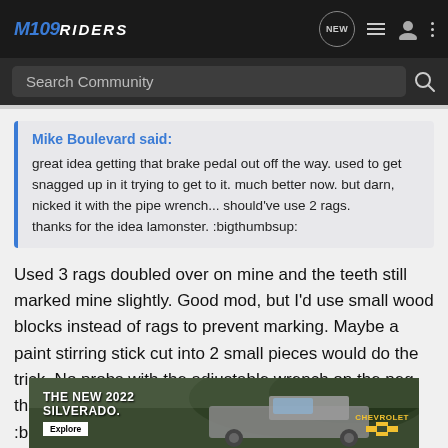M109Riders — navigation bar with logo and icons
Search Community
Mike Boulevard said:
great idea getting that brake pedal out off the way. used to get snagged up in it trying to get to it. much better now. but darn, nicked it with the pipe wrench... should've use 2 rags.
thanks for the idea lamonster. :bigthumbsup:
Used 3 rags doubled over on mine and the teeth still marked mine slightly. Good mod, but I'd use small wood blocks instead of rags to prevent marking. Maybe a paint stirring stick cut into 2 small pieces would do the trick. No probs with the adjustable wrench on the peg though. And, excellent mod for larger feet! :bigthumbsup:
[Figure (screenshot): Advertisement banner for The New 2022 Silverado by Chevrolet with truck photo and Explore button]